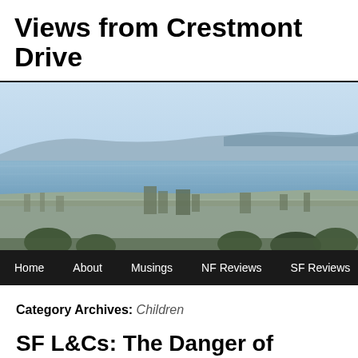Views from Crestmont Drive
[Figure (photo): Panoramic aerial view of a city with a bay, ocean water, and hills in the background under a blue hazy sky]
Home   About   Musings   NF Reviews   SF Reviews   Shf Revi…
Category Archives: Children
SF L&Cs: The Danger of Books